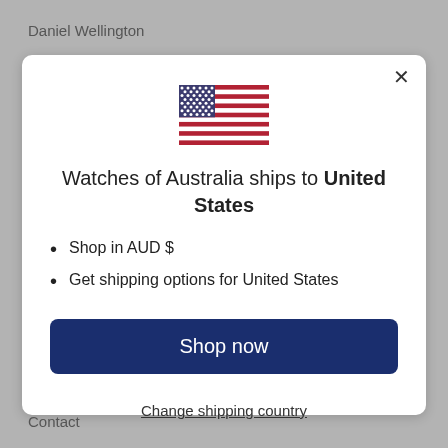Daniel Wellington
[Figure (illustration): US flag emoji/icon displayed in the modal dialog]
Watches of Australia ships to United States
Shop in AUD $
Get shipping options for United States
Shop now
Change shipping country
Contact